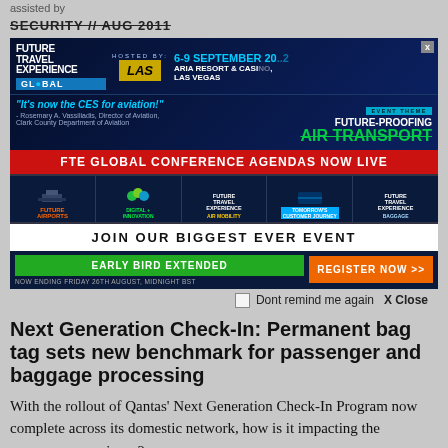assisted by
SECURITY // AUG 2011
[Figure (infographic): Future Travel Experience Global advertisement banner. Hosted by LAS (Las Vegas). 6-9 September 2022. Aria Resort & Casino, Las Vegas. Quote: 'It's now the CES for aviation!' - Rosemary A. Vassiliadis, Director of Aviation, Clark County Department of Aviation. Event Theme: Future-Proofing Air Transport. FTE Global Conference Agendas Now Live. Five conference track icons: Future Airports, Digital Innovation, Future Travel Experience Air Mobility, Tomorrow's Customer Journey, Future Travel Experience Baggage. Join Our Biggest Ever Event. Early Bird Extended - Now ending Friday 26th August, Midnight BST. Register Now >>]
Dont remind me again   X Close
Next Generation Check-In: Permanent bag tag sets new benchmark for passenger and baggage processing
With the rollout of Qantas' Next Generation Check-In Program now complete across its domestic network, how is it impacting the passenger experience?